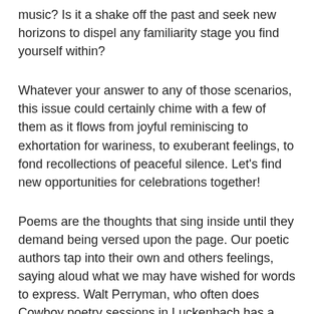music? Is it a shake off the past and seek new horizons to dispel any familiarity stage you find yourself within?
Whatever your answer to any of those scenarios, this issue could certainly chime with a few of them as it flows from joyful reminiscing to exhortation for wariness, to exuberant feelings, to fond recollections of peaceful silence. Let's find new opportunities for celebrations together!
Poems are the thoughts that sing inside until they demand being versed upon the page. Our poetic authors tap into their own and others feelings, saying aloud what we may have wished for words to express. Walt Perryman, who often does Cowboy poetry sessions in Luckenbach has a wonderful poem we are repeating for this December, "A West Texas Tumbleweed Christmas." He also shares "Happiness More or Less, " "On My Mind," and "Recipe for Sleep" this month. Bud Lemire's romantic "In Her Eyes," and the two more serious "Vacine." and "On The Front Lines" are a contrast. Bruce Clifford"s poems are usually composed as song lyrics